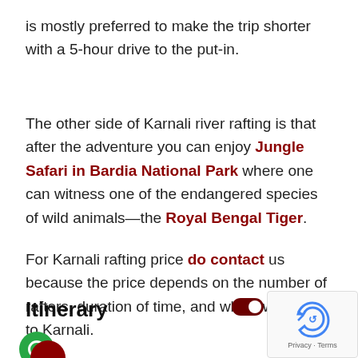is mostly preferred to make the trip shorter with a 5-hour drive to the put-in.
The other side of Karnali river rafting is that after the adventure you can enjoy Jungle Safari in Bardia National Park where one can witness one of the endangered species of wild animals—the Royal Bengal Tiger.
For Karnali rafting price do contact us because the price depends on the number of rafters, duration of time, and which way to go to Karnali.
Itinerary
[Figure (other): Toggle switch labeled Expand, partially cut off on right edge. Green circle icon and partial red circle at bottom representing itinerary timeline. reCAPTCHA overlay in bottom-right corner.]